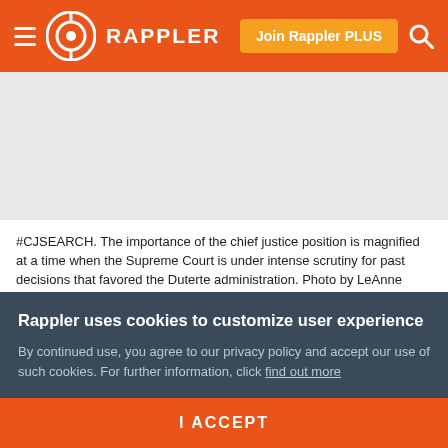Rappler — Join Rappler PLUS
[Figure (photo): White/light gray placeholder area representing a news photo related to the Philippine Supreme Court chief justice search]
#CJSEARCH. The importance of the chief justice position is magnified at a time when the Supreme Court is under intense scrutiny for past decisions that favored the Duterte administration. Photo by LeAnne Jazul/Rappler
MANILA, Philippines — The chief justice is prime into
Rappler uses cookies to customize user experience
By continued use, you agree to our privacy policy and accept our use of such cookies. For further information, click find out more
I ACCEPT